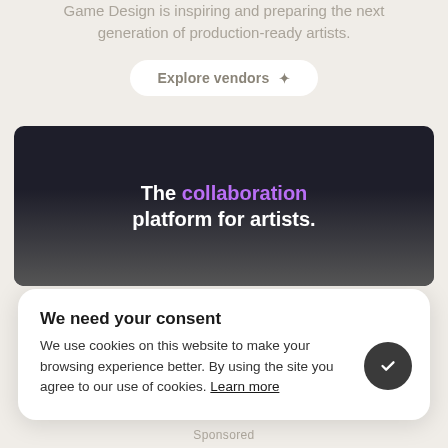Game Design is inspiring and preparing the next generation of production-ready artists.
Explore vendors
[Figure (screenshot): Dark banner advertisement showing the text 'The collaboration platform for artists.' with 'collaboration' highlighted in purple, over a dark background with artistic imagery.]
We need your consent
We use cookies on this website to make your browsing experience better. By using the site you agree to our use of cookies. Learn more
Sponsored